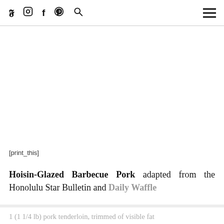Twitter Instagram Facebook Pinterest Search [menu]
[print_this]
Hoisin-Glazed Barbecue Pork adapted from the Honolulu Star Bulletin and Daily Waffle
1 (1 1/4 lb) pork tenderloin, trimmed of visible fat
1/4 cup sugar